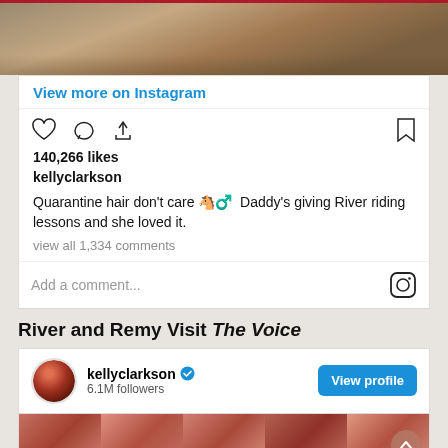[Figure (photo): Partial outdoor photo showing person in jeans and horse legs, cropped]
View more on Instagram
140,266 likes
kellyclarkson
Quarantine hair don't care 🐴♀ Daddy's giving River riding lessons and she loved it.
view all 1,334 comments
Add a comment...
River and Remy Visit The Voice
kellyclarkson  ✓  6.1M followers
View profile
[Figure (photo): Photo strip of multiple Kelly Clarkson Instagram photos]